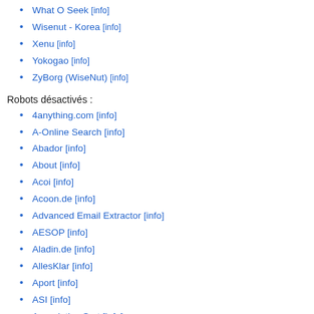What O Seek [info]
Wisenut - Korea [info]
Xenu [info]
Yokogao [info]
ZyBorg (WiseNut) [info]
Robots désactivés :
4anything.com [info]
A-Online Search [info]
Abador [info]
About [info]
Acoi [info]
Acoon.de [info]
Advanced Email Extractor [info]
AESOP [info]
Aladin.de [info]
AllesKlar [info]
Aport [info]
ASI [info]
Associative Sort [info]
BB4 [info]
BigFoot [info]
Bisnisseek [info]
BullsEye [info]
CG-Exe [info]
Check&Get [info]
CheckBot [info]
CheckWeb [info]
CMP [info]